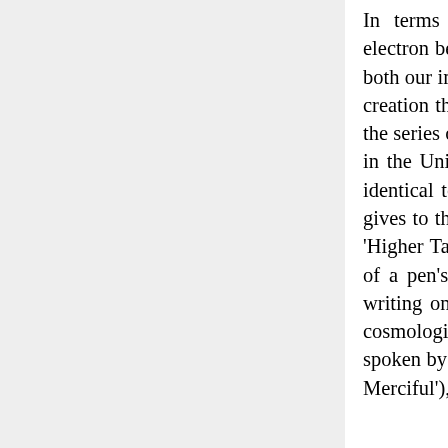In terms of Ibn al-Arabi's understanding of the cosmogonic process, the electron beam here is like the Single Monad/Pen/Intellect; the screen is like both our imagination and outwardly or objectively, the effective 'substrate' of creation that Ibn al-Arabi calls 'the Dust': al-'ama'); while the cosmos is like the series of pictures on the screen, which are printed on our imagination and in the Universal Tablet. Ibn al-Arabi's description of the world is identical to this example of the computer monitor, even the names that he gives to the Single Monad as the 'Higher Pen' and to the cosmic Soul as the 'Higher Tablet', indicate that the process of creation is similar to the process of a pen's writing on a tablet, which is also similar to the electron-beam writing on the screen. To take yet another of Ibn al-Arabi's most favoured cosmological images, we creatures are the 'letters' and the 'words' that are spoken by the Creator (through the creative, existentiating 'Breath of the All-Merciful'), after having